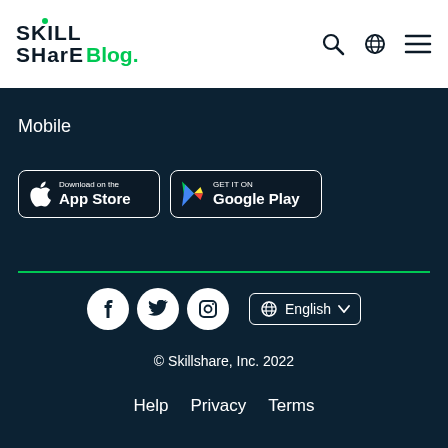SKILL SHARE Blog.
Mobile
[Figure (logo): Download on the App Store button]
[Figure (logo): Get it on Google Play button]
[Figure (infographic): Social media icons: Facebook, Twitter, Instagram and English language selector]
© Skillshare, Inc. 2022
Help  Privacy  Terms